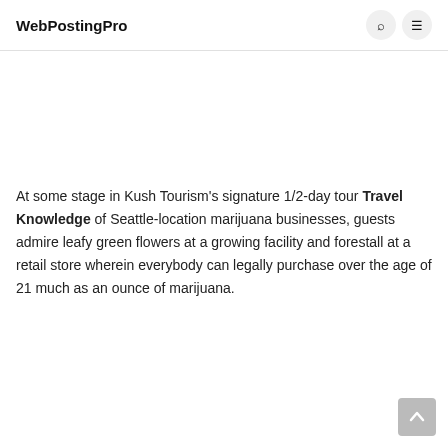WebPostingPro
At some stage in Kush Tourism's signature 1/2-day tour Travel Knowledge of Seattle-location marijuana businesses, guests admire leafy green flowers at a growing facility and forestall at a retail store wherein everybody can legally purchase over the age of 21 much as an ounce of marijuana.